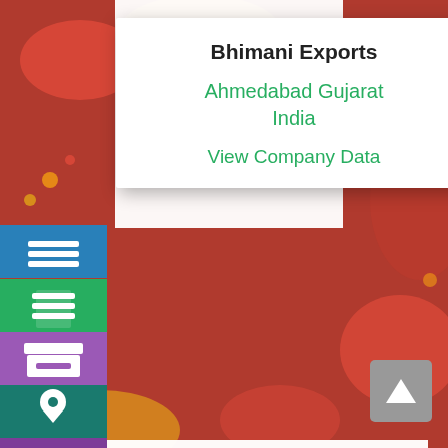[Figure (screenshot): Colorful spice background image]
Bhimani Exports
Ahmedabad Gujarat India
View Company Data
[Figure (screenshot): Left sidebar with blue hamburger menu icon, green document icon, purple archive icon, teal location pin icon, violet search icon]
Sravan Exim
Sravan Exim
Chennai Tamil Nadu India
View Company Data